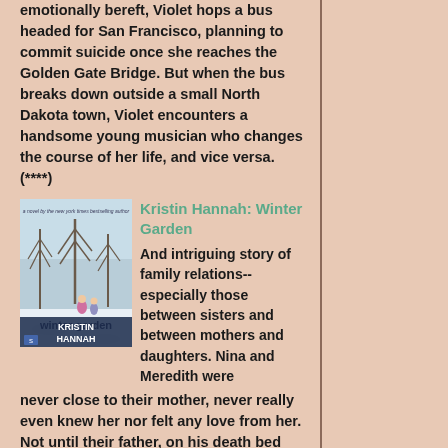emotionally bereft, Violet hops a bus headed for San Francisco, planning to commit suicide once she reaches the Golden Gate Bridge. But when the bus breaks down outside a small North Dakota town, Violet encounters a handsome young musician who changes the course of her life, and vice versa. (****)
[Figure (illustration): Book cover for Winter Garden by Kristin Hannah, showing a snowy winter scene with two figures walking among bare trees]
Kristin Hannah: Winter Garden
And intriguing story of family relations-- especially those between sisters and between mothers and daughters. Nina and Meredith were never close to their mother, never really even knew her nor felt any love from her. Not until their father, on his death bed made them promise to remedy that. A Russian fairytale, told by the Russian mother, becomes the device by which the